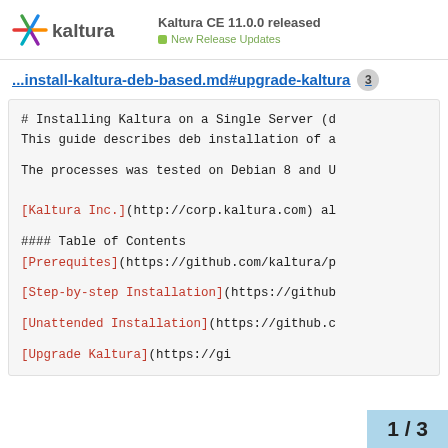Kaltura CE 11.0.0 released — New Release Updates
...install-kaltura-deb-based.md#upgrade-kaltura 3
# Installing Kaltura on a Single Server (d
This guide describes deb installation of a

The processes was tested on Debian 8 and U


[Kaltura Inc.](http://corp.kaltura.com) al

#### Table of Contents
[Prerequites](https://github.com/kaltura/p

[Step-by-step Installation](https://github

[Unattended Installation](https://github.c

[Upgrade Kaltura](https://gi
1 / 3